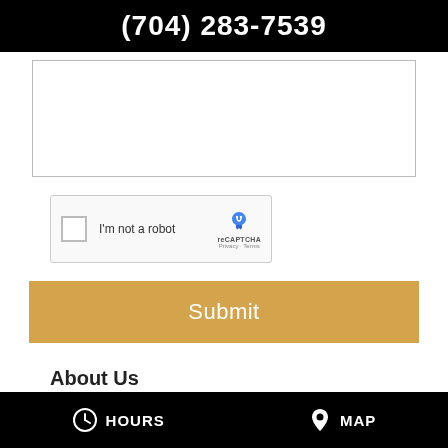(704) 283-7539
[Figure (screenshot): Text area input box for a web form, empty, with light border]
[Figure (screenshot): reCAPTCHA widget with checkbox labeled 'I'm not a robot' and reCAPTCHA logo with Privacy and Terms links]
Submit
About Us
HOURS   MAP